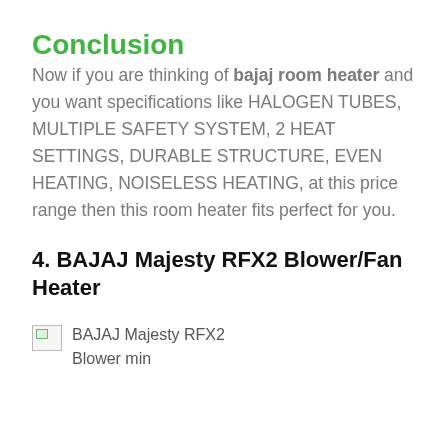Conclusion
Now if you are thinking of bajaj room heater and you want specifications like HALOGEN TUBES, MULTIPLE SAFETY SYSTEM, 2 HEAT SETTINGS, DURABLE STRUCTURE, EVEN HEATING, NOISELESS HEATING, at this price range then this room heater fits perfect for you.
4. BAJAJ Majesty RFX2 Blower/Fan Heater
[Figure (photo): Broken image placeholder for BAJAJ Majesty RFX2 Blower min]